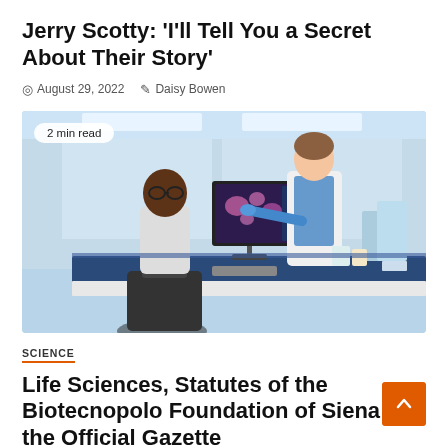Jerry Scotty: 'I'll Tell You a Secret About Their Story'
August 29, 2022   Daisy Bowen
[Figure (photo): Two scientists in white lab coats in a modern laboratory looking at a computer monitor displaying microscopy images. One scientist is seated, the other is standing and pointing at the screen. Lab equipment visible in the background.]
2 min read
SCIENCE
Life Sciences, Statutes of the Biotecnopolo Foundation of Siena in the Official Gazette